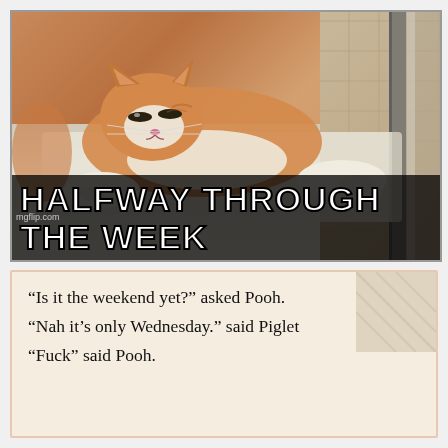[Figure (photo): A ginger and white cat stretching forward with eyes half-closed, appearing lazy or sleepy, lying on a white surface near a glass door or window. The text 'HALFWAY THROUGH THE WEEK' appears as bold white meme text at the bottom of the image. Watermark: mgflip.com]
“Is it the weekend yet?” asked Pooh.

“Nah it’s only Wednesday.” said Piglet

“Fuck” said Pooh.